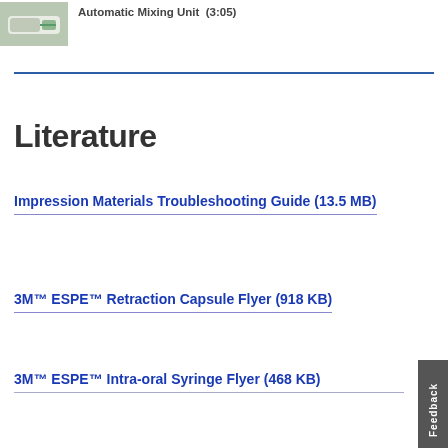[Figure (photo): Small thumbnail photo of a dental impression mixing unit device]
Automatic Mixing Unit (3:05)
Literature
Impression Materials Troubleshooting Guide (13.5 MB)
3M™ ESPE™ Retraction Capsule Flyer (918 KB)
3M™ ESPE™ Intra-oral Syringe Flyer (468 KB)